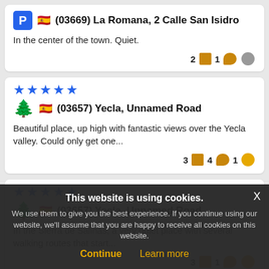(03669) La Romana, 2 Calle San Isidro — In the center of the town. Quiet. 2 [icon] 1 [icon] [icon]
★★★★★ (03657) Yecla, Unnamed Road — Beautiful place, up high with fantastic views over the Yecla valley. Could only get one... 3 [icon] 4 [icon] 1 [icon]
★★★★★ (03657) Yecla, Unnamed Road — In the Sierra de Salinas, a very quiet place with several walking routes that start... 3 [icon] 1 [icon] [icon]
Cookie banner: This website is using cookies. We use them to give you the best experience. If you continue using our website, we'll assume that you are happy to receive all cookies on this website. Continue | Learn more